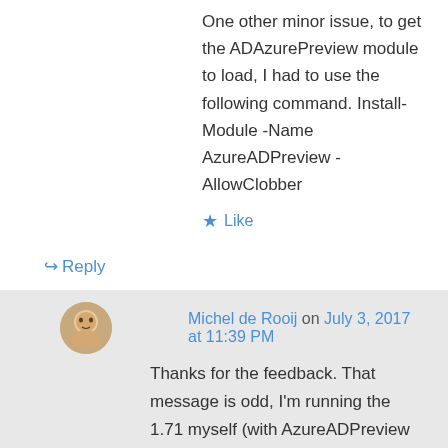One other minor issue, to get the ADAzurePreview module to load, I had to use the following command. Install-Module -Name AzureADPreview -AllowClobber
★ Like
↳ Reply
Michel de Rooij on July 3, 2017 at 11:39 PM
Thanks for the feedback. That message is odd, I'm running the 1.71 myself (with AzureADPreview installed) from w10. You by any chance import the non-preview module as well (since you're using AzureADPreview)?